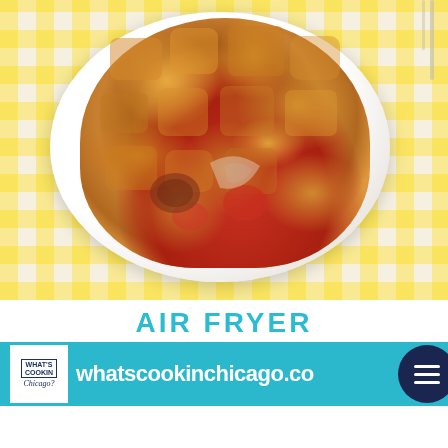[Figure (photo): A white plate piled with BBQ kielbasa hash — chunky golden-brown roasted potatoes, sausage pieces, caramelized onion wedges, and red tomatoes, on a yellow gingham tablecloth background with a fork visible at top right]
AIR FRYER BBQ Kielbasa Hash
[Figure (logo): What's Cookin Chicago? logo in white box on teal banner]
whatscookinchicago.co